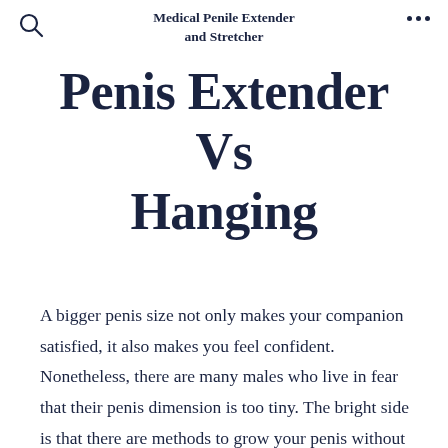Medical Penile Extender and Stretcher
Penis Extender Vs Hanging
A bigger penis size not only makes your companion satisfied, it also makes you feel confident. Nonetheless, there are many males who live in fear that their penis dimension is too tiny. The bright side is that there are methods to grow your penis without making use of pills in a secure and reliable means. Penis Extender Vs Hanging